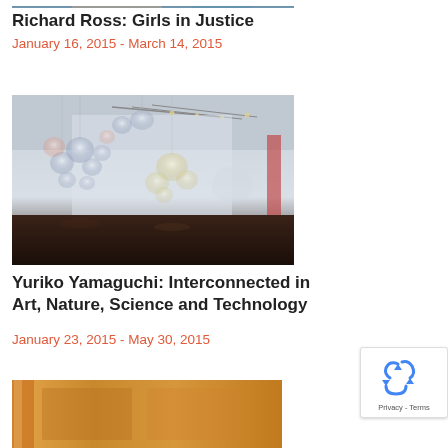[Figure (photo): Top portion of a photo (cropped at top) showing a person, partially visible]
Richard Ross: Girls in Justice
January 16, 2015 - March 14, 2015
[Figure (photo): Interior gallery photo showing hanging transparent sculptural forms (globes/flowers) suspended from the ceiling in a white gallery space with dark wood floor]
Yuriko Yamaguchi: Interconnected in Art, Nature, Science and Technology
January 23, 2015 - May 30, 2015
[Figure (photo): Partial photo at bottom showing a wooden door or panel in warm tan/orange tones]
[Figure (logo): Google reCAPTCHA badge with recycling-arrow icon and Privacy/Terms links]